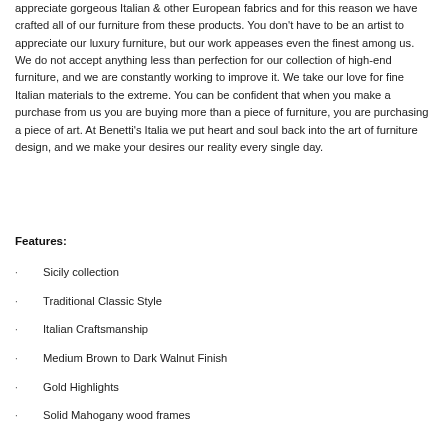appreciate gorgeous Italian & other European fabrics and for this reason we have crafted all of our furniture from these products. You don't have to be an artist to appreciate our luxury furniture, but our work appeases even the finest among us. We do not accept anything less than perfection for our collection of high-end furniture, and we are constantly working to improve it. We take our love for fine Italian materials to the extreme. You can be confident that when you make a purchase from us you are buying more than a piece of furniture, you are purchasing a piece of art. At Benetti's Italia we put heart and soul back into the art of furniture design, and we make your desires our reality every single day.
Features:
Sicily collection
Traditional Classic Style
Italian Craftsmanship
Medium Brown to Dark Walnut Finish
Gold Highlights
Solid Mahogany wood frames